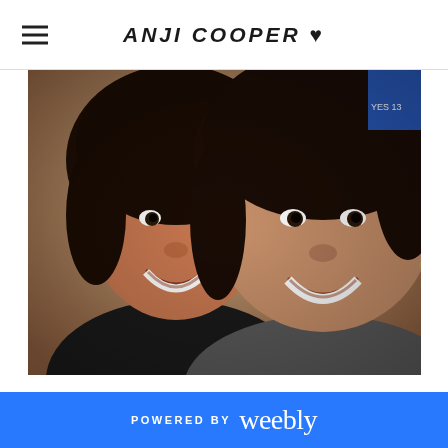ANJI COOPER ♥
[Figure (photo): A selfie photo of two young women smiling at the camera. The woman on the left has dark hair and is wearing a black top. The woman on the right has long dark hair and is wearing a gray top. They appear to be indoors.]
POWERED BY weebly